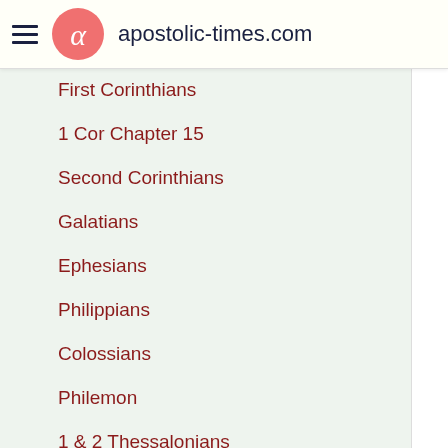apostolic-times.com
First Corinthians
1 Cor Chapter 15
Second Corinthians
Galatians
Ephesians
Philippians
Colossians
Philemon
1 & 2 Thessalonians
Pastoral Letters